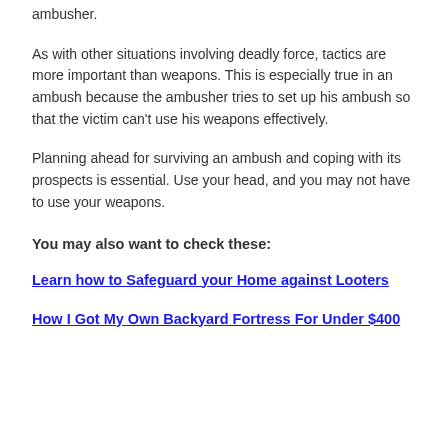ambusher.
As with other situations involving deadly force, tactics are more important than weapons. This is especially true in an ambush because the ambusher tries to set up his ambush so that the victim can't use his weapons effectively.
Planning ahead for surviving an ambush and coping with its prospects is essential. Use your head, and you may not have to use your weapons.
You may also want to check these:
Learn how to Safeguard your Home against Looters
How I Got My Own Backyard Fortress For Under $400